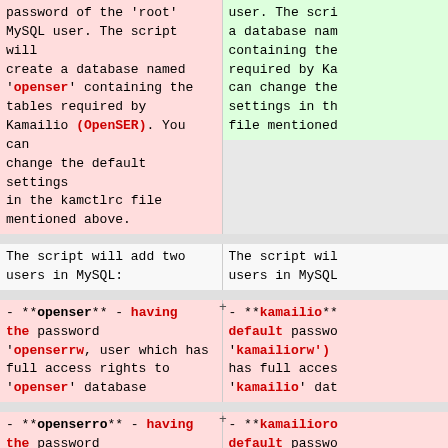password of the 'root' MySQL user. The script will create a database named 'openser' containing the tables required by Kamailio (OpenSER). You can change the default settings in the kamctlrc file mentioned above.
user. The script will create a database named containing the tables required by Kamailio. You can change the settings in the file mentioned above.
The script will add two users in MySQL:
The script will add two users in MySQL:
-- **openser** - having the password 'openserrw', user which has full access rights to 'openser' database
+ - **kamailio** - having default password 'kamailiorw') has full access to 'kamailio' database
-- **openserro** - having the password
+ - **kamailioro** - having default password